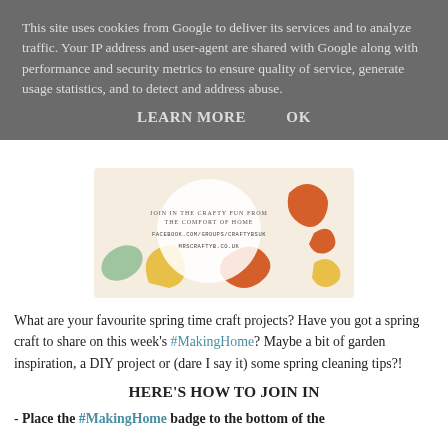This site uses cookies from Google to deliver its services and to analyze traffic. Your IP address and user-agent are shared with Google along with performance and security metrics to ensure quality of service, generate usage statistics, and to detect and address abuse.
LEARN MORE    OK
[Figure (illustration): Decorative crafty banner with autumn/spring leaves in orange, yellow, green colors on a cream background. Text reads: JOIN IN THE CRAFTY FUN FROM THE COMFORT OF HOME, FACEBOOK.COM/GROUPS/CRAFTYBSUK, MRSCRAFTYB.CO.UK]
What are your favourite spring time craft projects? Have you got a spring craft to share on this week's #MakingHome? Maybe a bit of garden inspiration, a DIY project or (dare I say it) some spring cleaning tips?!
HERE'S HOW TO JOIN IN
- Place the #MakingHome badge to the bottom of the